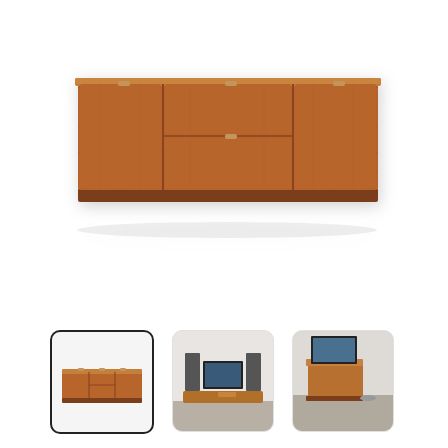[Figure (photo): Main product image of a long walnut wood TV media console/sideboard with two outer cabinet doors and two center drawers with small bar handles, shown floating/wall-mounted against a white background.]
[Figure (photo): Thumbnail 1 (selected, black border): Small version of the same walnut wood TV console shown from front, on white background.]
[Figure (photo): Thumbnail 2: Photo of the walnut TV console in a modern living room setting with a television and audio equipment.]
[Figure (photo): Thumbnail 3: Photo of the walnut TV console in a room setting, angled view, with a flatscreen TV on top.]